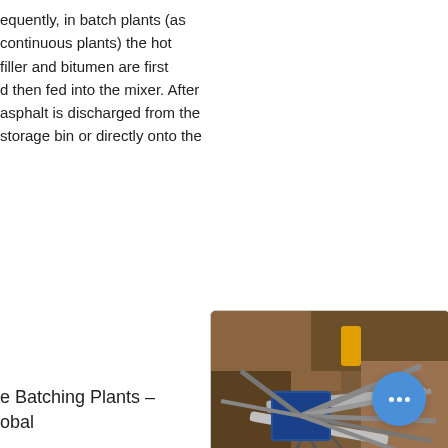equently, in batch plants (as continuous plants) the hot filler and bitumen are first d then fed into the mixer. After asphalt is discharged from the storage bin or directly onto the
[Figure (photo): Aerial photograph of mining/quarry plant equipment showing conveyor belts and machinery, with AMG logo overlay in the lower right corner]
e Batching Plants – obal